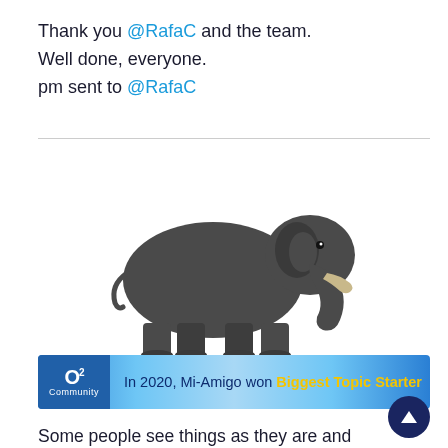Thank you @RafaC and the team.
Well done, everyone.
pm sent to @RafaC
[Figure (illustration): A dark grey elephant walking, shown in profile against a white background.]
[Figure (infographic): O2 Community banner: 'In 2020, Mi-Amigo won Biggest Topic Starter']
Some people see things as they are and ask "Why?"; I dream of things that never were and ask "Why not?"